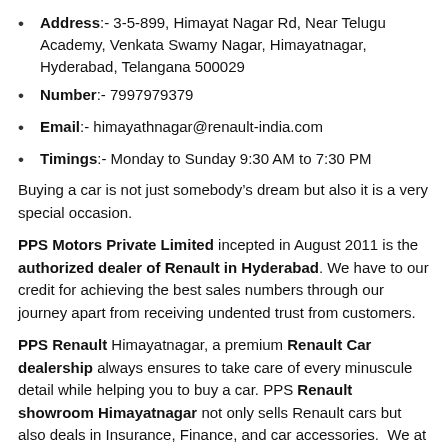Address:- 3-5-899, Himayat Nagar Rd, Near Telugu Academy, Venkata Swamy Nagar, Himayatnagar, Hyderabad, Telangana 500029
Number:- 7997979379
Email:- himayathnagar@renault-india.com
Timings:-  Monday to Sunday 9:30 AM to 7:30 PM
Buying a car is not just somebody’s dream but also it is a very special occasion.
PPS Motors Private Limited incepted in August 2011 is the authorized dealer of Renault in Hyderabad. We have to our credit for achieving the best sales numbers through our journey apart from receiving undented trust from customers.
PPS Renault Himayatnagar, a premium Renault Car dealership always ensures to take care of every minuscule detail while helping you to buy a car. PPS Renault showroom Himayatnagar not only sells Renault cars but also deals in Insurance, Finance, and car accessories.  We at PPS Renault Himayatnagar, always endeavor to achieve the highest level of customer satisfaction